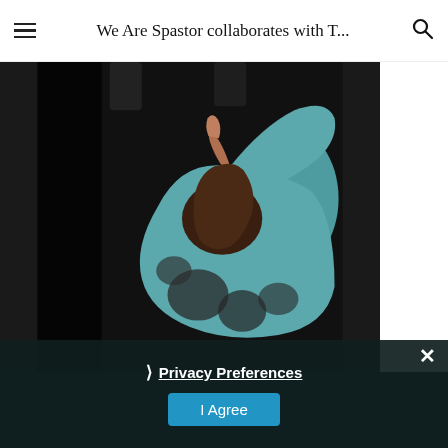We Are Spastor collaborates with T...
[Figure (photo): A person wearing a teal/blue sweater with dark animal print graphics, arms raised and bent over their head, face obscured by arm, against a dark background]
❯ Privacy Preferences
I Agree